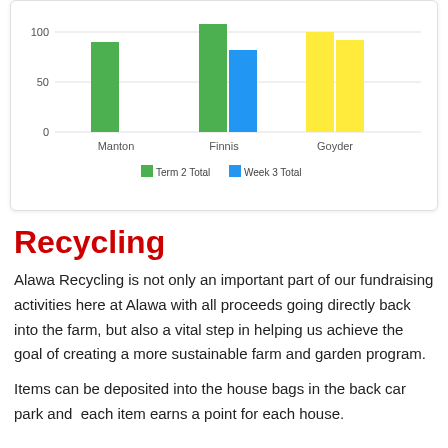[Figure (grouped-bar-chart): ]
Recycling
Alawa Recycling is not only an important part of our fundraising activities here at Alawa with all proceeds going directly back into the farm, but also a vital step in helping us achieve the goal of creating a more sustainable farm and garden program.
Items can be deposited into the house bags in the back car park and  each item earns a point for each house.